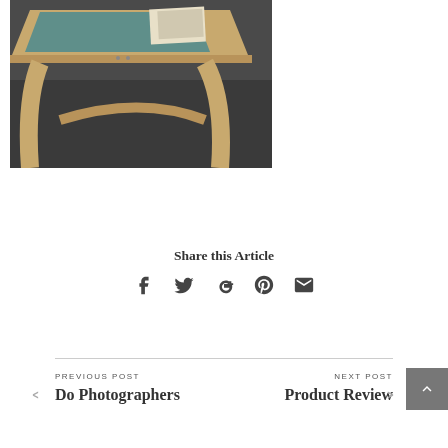[Figure (photo): A wooden desk/drafting table with curved legs, viewed from above at an angle. Teal/blue mat surface visible on the table top, with papers/books on it. Dark carpet floor beneath.]
Share this Article
[Figure (infographic): Social sharing icons: Facebook (f), Twitter (bird), Google+ (g+), Pinterest (p), Email (envelope)]
PREVIOUS POST
Do Photographers
NEXT POST
Product Review